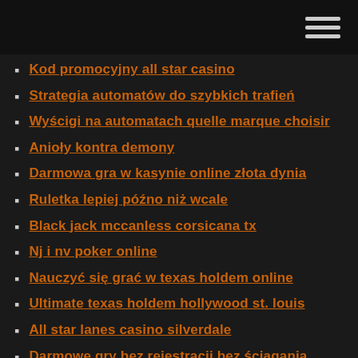Kod promocyjny all star casino
Strategia automatów do szybkich trafień
Wyścigi na automatach quelle marque choisir
Anioły kontra demony
Darmowa gra w kasynie online złota dynia
Ruletka lepiej późno niż wcale
Black jack mccanless corsicana tx
Nj i nv poker online
Nauczyć się grać w texas holdem online
Ultimate texas holdem hollywood st. louis
All star lanes casino silverdale
Darmowe gry bez rejestracji bez ściągania
21 blackjack streaming sub english
Światowy wyścig hazardowy o galaktykę